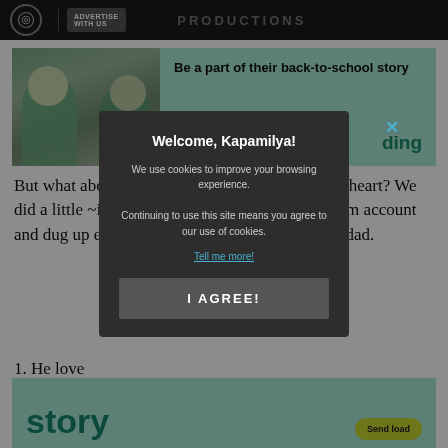PRODUCTIONS
[Figure (photo): Advertisement banner showing two young girls in school uniforms looking at a phone, with text 'Be a part of their back-to-school story', a 'Send load' button, and 'ding' branding on a mint green background]
But what about the man that holds the key to her heart? We did a little ~investigation~ on Catriona's Instagram account and dug up everything we could about Clint Bondad.
1. He love
[Figure (screenshot): Cookie consent modal dialog with title 'Welcome, Kapamilya!', text 'We use cookies to improve your browsing experience. Continuing to use this site means you agree to our use of cookies.', a 'Tell me more!' link, and 'I AGREE!' button]
[Figure (photo): Partially visible second advertisement banner showing 'story' text and 'Send load' button on mint green background]